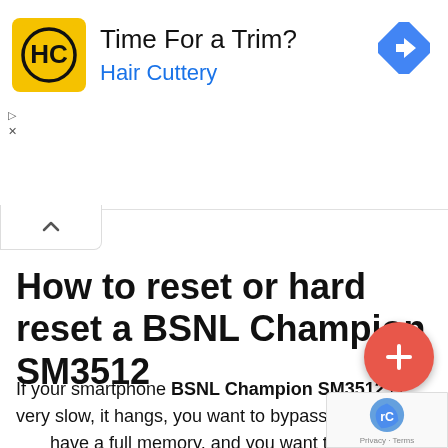[Figure (screenshot): Advertisement banner for Hair Cuttery with yellow logo showing HC initials, headline 'Time For a Trim?', brand name 'Hair Cuttery' in blue, and a blue navigation diamond icon on the right]
How to reset or hard reset a BSNL Champion SM3512
If your smartphone BSNL Champion SM3512 is very slow, it hangs, you want to bypass screen lock, have a full memory, and you want to erase everything, you want to sell it or give it away and you want nobody to